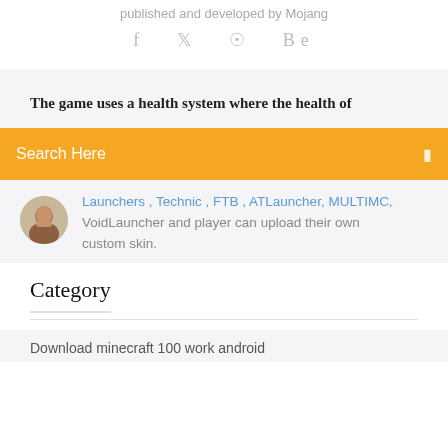published and developed by Mojang
f  t  ⊕  Be
The game uses a health system where the health of
Search Here
Launchers , Technic , FTB , ATLauncher, MULTIMC, VoidLauncher and player can upload their own custom skin.
Category
Download minecraft 100 work android